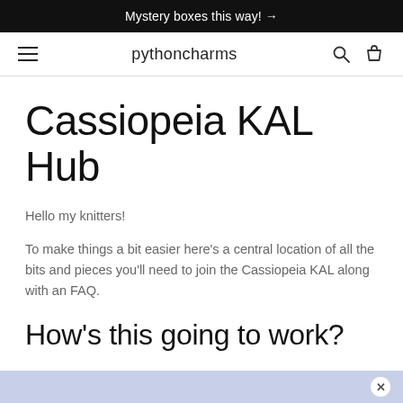Mystery boxes this way! →
pythoncharms
Cassiopeia KAL Hub
Hello my knitters!
To make things a bit easier here's a central location of all the bits and pieces you'll need to join the Cassiopeia KAL along with an FAQ.
How's this going to work?